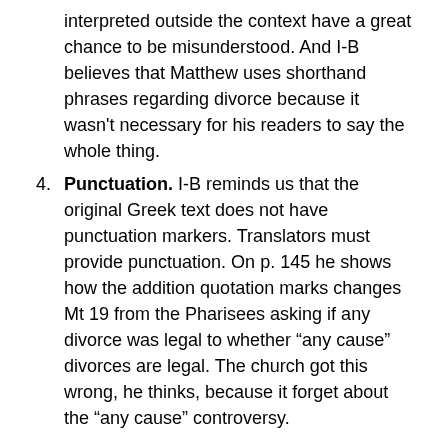interpreted outside the context have a great chance to be misunderstood. And I-B believes that Matthew uses shorthand phrases regarding divorce because it wasn't necessary for his readers to say the whole thing.
4. Punctuation. I-B reminds us that the original Greek text does not have punctuation markers. Translators must provide punctuation. On p. 145 he shows how the addition quotation marks changes Mt 19 from the Pharisees asking if any divorce was legal to whether “any cause” divorces are legal. The church got this wrong, he thinks, because it forget about the “any cause” controversy.
Of course this brings up issues around interpretive process, authorial intent, and how God intends these passages to be timeless, or better yet, for all time. I-B says